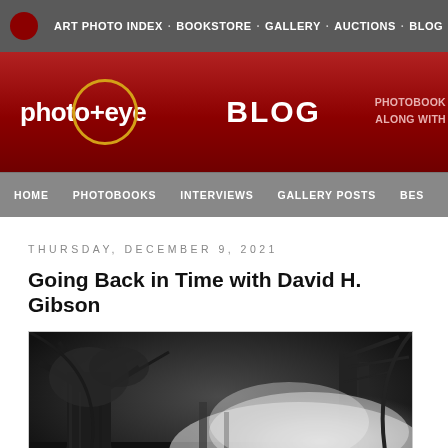ART PHOTO INDEX · BOOKSTORE · GALLERY · AUCTIONS · BLOG
[Figure (logo): photo-eye BLOG logo on red banner background with circular logo mark and text 'PHOTOBOOK ALONG WITH' on the right]
HOME  PHOTOBOOKS  INTERVIEWS  GALLERY POSTS  BES
THURSDAY, DECEMBER 9, 2021
Going Back in Time with David H. Gibson
[Figure (photo): Black and white photograph of a misty forest scene with large trees on the left and foggy water or mist on the right, atmospheric and moody landscape]